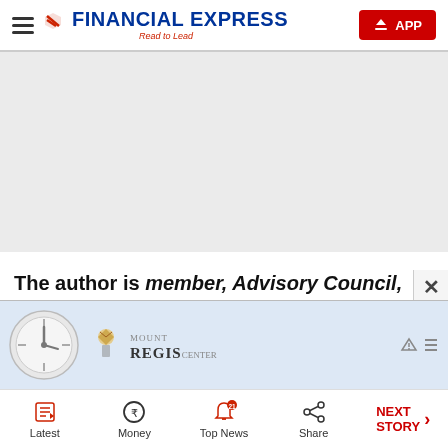Financial Express — Read to Lead | APP
[Figure (other): Large grey advertisement placeholder area]
The author is member, Advisory Council, Federation of Indian Fantasy Sports
[Figure (other): Overlay advertisement banner with clock graphic and Mount Regis Center logo]
Latest | Money | Top News 21 | Share | NEXT STORY